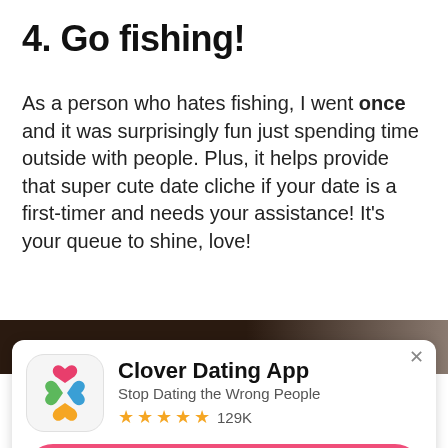4. Go fishing!
As a person who hates fishing, I went once and it was surprisingly fun just spending time outside with people. Plus, it helps provide that super cute date cliche if your date is a first-timer and needs your assistance! It's your queue to shine, love!
[Figure (photo): Dark toned photo strip of fishing scene]
[Figure (screenshot): Clover Dating App advertisement overlay with app icon (four hearts in pink, green, blue, orange), app name 'Clover Dating App', subtitle 'Stop Dating the Wrong People', 4.5 star rating with 129K reviews, and a pink GET APP button]